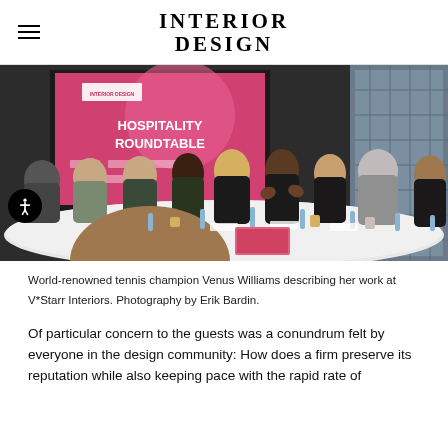INTERIOR DESIGN
[Figure (photo): Group of people seated around a long white conference table at Interior Design Hospitality Roundtable event. A pink presentation screen shows 'HOSPITALITY ROUNDTABLE'. Photography by Erik Bardin.]
World-renowned tennis champion Venus Williams describing her work at V*Starr Interiors. Photography by Erik Bardin.
Of particular concern to the guests was a conundrum felt by everyone in the design community: How does a firm preserve its reputation while also keeping pace with the rapid rate of